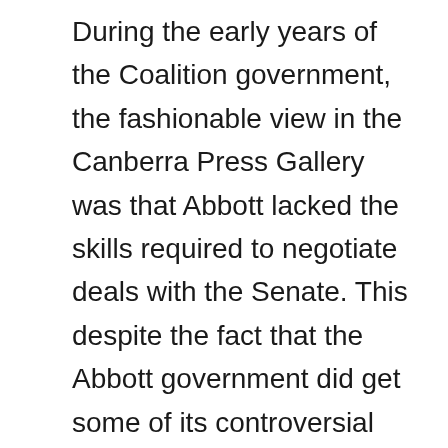During the early years of the Coalition government, the fashionable view in the Canberra Press Gallery was that Abbott lacked the skills required to negotiate deals with the Senate. This despite the fact that the Abbott government did get some of its controversial legislation through the Senate, including the abolition of the carbon and mining taxes.

Journalists hostile to Abbott, as many were, believed that a gentler kind of prime minister would be able to get a majority in the upper house. However, five months into Australia's top political job, Turnbull has done no better than Abbott in the Senate. If anything, his success rate is lower than